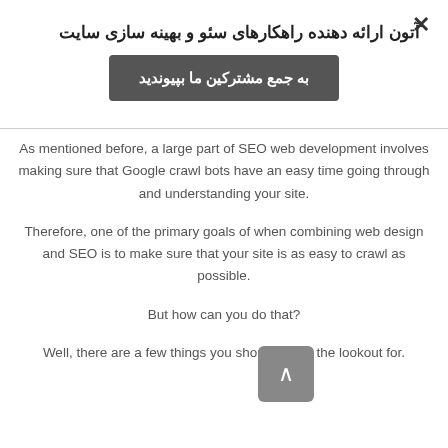×
آتون ارائه دهنده راهکارهای سئو و بهینه سازی سایت
به جمع مشترکین ما بپیوندید
As mentioned before, a large part of SEO web development involves making sure that Google crawl bots have an easy time going through and understanding your site.
Therefore, one of the primary goals of when combining web design and SEO is to make sure that your site is as easy to crawl as possible.
But how can you do that?
Well, there are a few things you should be on the lookout for.